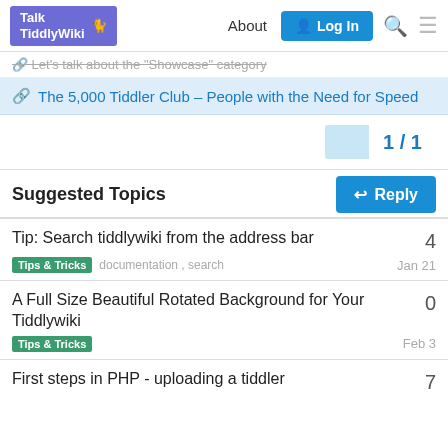Talk TiddlyWiki | About | Log In
Let's talk about the "Showcase" category
The 5,000 Tiddler Club – People with the Need for Speed
1/1
Reply
Suggested Topics
Tip: Search tiddlywiki from the address bar | Tips & Tricks | documentation, search | Jan 21 | 4
A Full Size Beautiful Rotated Background for Your Tiddlywiki | Tips & Tricks | Feb 3 | 0
First steps in PHP - uploading a tiddler | 7